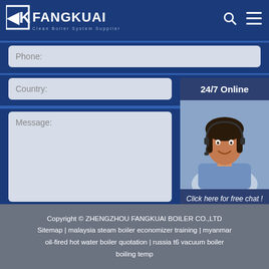[Figure (logo): Fangkuai logo with text 'FANGKUAI' and subtitle 'Clean Boiler System Supplier']
Phone:
Country:
24/7 Online
[Figure (photo): Customer service agent woman wearing headset, smiling]
Click here for free chat !
QUOTATION
Message:
Submit Now
Copyright © ZHENGZHOU FANGKUAI BOILER CO.,LTD
Sitemap | malaysia steam boiler economizer training | myanmar oil-fired hot water boiler quotation | russia t6 vacuum boiler boiling temp